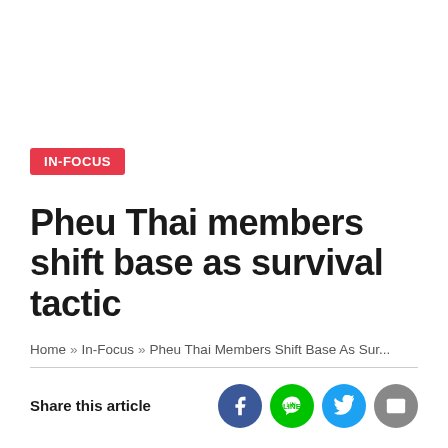IN-FOCUS
Pheu Thai members shift base as survival tactic
Home » In-Focus » Pheu Thai Members Shift Base As Sur...
Share this article
SINCE THE 2017 Constitution was never